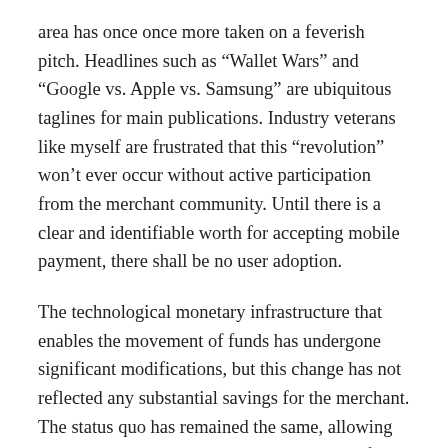area has once once more taken on a feverish pitch. Headlines such as “Wallet Wars” and “Google vs. Apple vs. Samsung” are ubiquitous taglines for main publications. Industry veterans like myself are frustrated that this “revolution” won’t ever occur without active participation from the merchant community. Until there is a clear and identifiable worth for accepting mobile payment, there shall be no user adoption.
The technological monetary infrastructure that enables the movement of funds has undergone significant modifications, but this change has not reflected any substantial savings for the merchant. The status quo has remained the same, allowing these major players to reap the advantages of lower operational prices, while the merchant charges continue to assist your entire system.